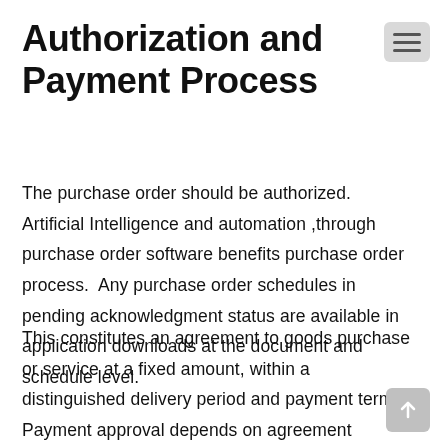Authorization and Payment Process
The purchase order should be authorized. Artificial Intelligence and automation ,through purchase order software benefits purchase order process.  Any purchase order schedules in pending acknowledgment status are available in application downloads at the document and schedule level.
This constitutes an agreement to goods purchase or service at a fixed amount, within a distinguished delivery period and payment terms. Payment approval depends on agreement between supplier and reviewing party